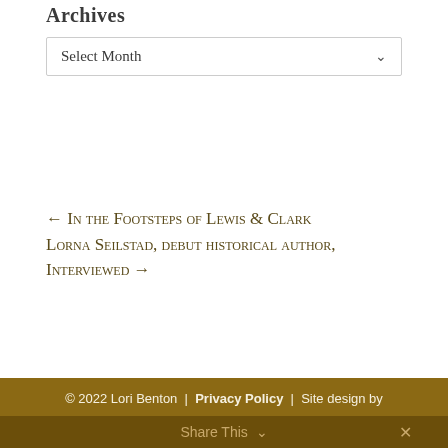Archives
Select Month
← In the Footsteps of Lewis & Clark Lorna Seilstad, debut historical author, Interviewed →
© 2022 Lori Benton | Privacy Policy | Site design by Savanna Kaiser
Share This ✕